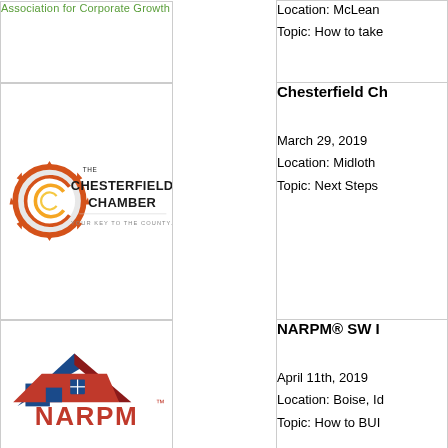| Logo | Organization Info |
| --- | --- |
| Association for Corporate Growth | Location: McLean
Topic: How to take |
| Chesterfield Chamber | Chesterfield Ch

March 29, 2019
Location: Midloth
Topic: Next Steps |
| NARPM | NARPM® SW I

April 11th, 2019
Location: Boise, Id
Topic: How to BUI |